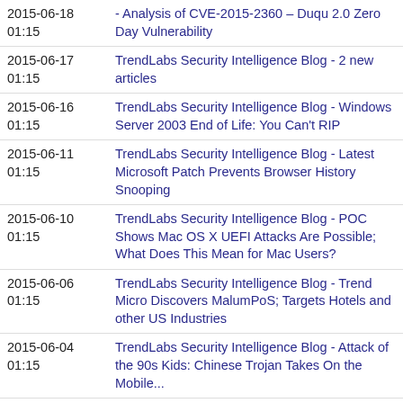2015-06-18 01:15 | TrendLabs Security Intelligence Blog - Analysis of CVE-2015-2360 – Duqu 2.0 Zero Day Vulnerability
2015-06-17 01:15 | TrendLabs Security Intelligence Blog - 2 new articles
2015-06-16 01:15 | TrendLabs Security Intelligence Blog - Windows Server 2003 End of Life: You Can't RIP
2015-06-11 01:15 | TrendLabs Security Intelligence Blog - Latest Microsoft Patch Prevents Browser History Snooping
2015-06-10 01:15 | TrendLabs Security Intelligence Blog - POC Shows Mac OS X UEFI Attacks Are Possible; What Does This Mean for Mac Users?
2015-06-06 01:15 | TrendLabs Security Intelligence Blog - Trend Micro Discovers MalumPoS; Targets Hotels and other US Industries
2015-06-04 01:15 | TrendLabs Security Intelligence Blog - Attack of the 90s Kids: Chinese Trojan Takes On the Mobile...